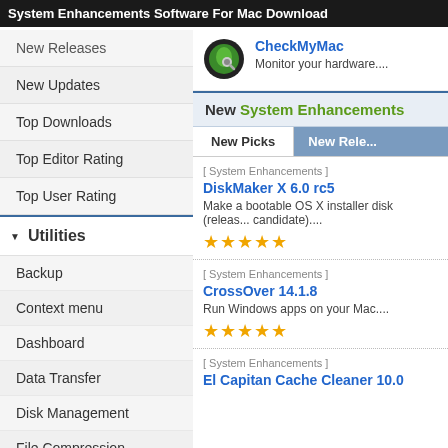System Enhancements Software For Mac Download
New Releases
New Updates
Top Downloads
Top Editor Rating
Top User Rating
Utilities
Backup
Context menu
Dashboard
Data Transfer
Disk Management
File Compression
File Management
CheckMyMac
Monitor your hardware....
New System Enhancements
New Picks | New Releases
[ System Enhancements ]
DiskMaker X 6.0 rc5
Make a bootable OS X installer disk (release candidate)....
★★★★★
[ System Enhancements ]
CrossOver 14.1.8
Run Windows apps on your Mac....
★★★★★
[ System Enhancements ]
El Capitan Cache Cleaner 10.0